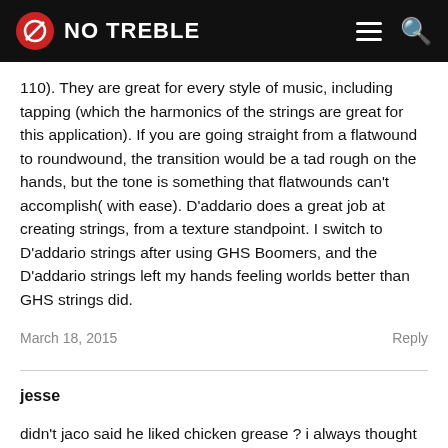NO TREBLE
110). They are great for every style of music, including tapping (which the harmonics of the strings are great for this application). If you are going straight from a flatwound to roundwound, the transition would be a tad rough on the hands, but the tone is something that flatwounds can't accomplish( with ease). D'addario does a great job at creating strings, from a texture standpoint. I switch to D'addario strings after using GHS Boomers, and the D'addario strings left my hands feeling worlds better than GHS strings did.
March 18, 2015
Reply
jesse
didn't jaco said he liked chicken grease ? i always thought he was joking :)